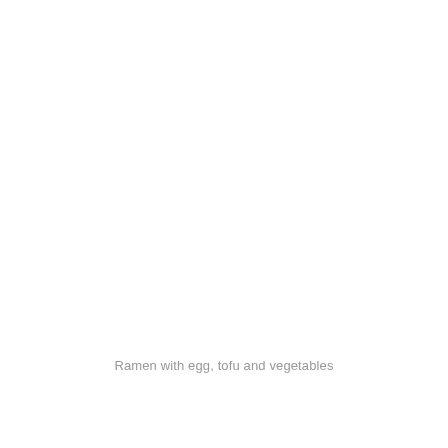Ramen with egg, tofu and vegetables